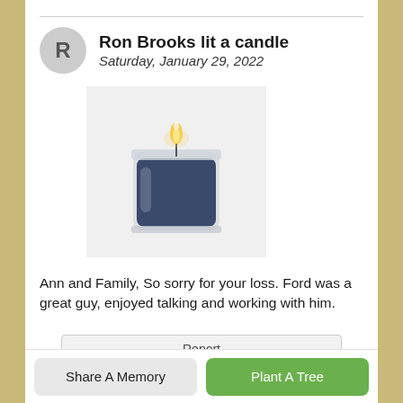Ron Brooks lit a candle
Saturday, January 29, 2022
[Figure (photo): A navy blue candle in a clear glass jar with a lit flame, on a white background]
Ann and Family, So sorry for your loss. Ford was a great guy, enjoyed talking and working with him.
Report
Like 0
Share
Comment
Share A Memory
Plant A Tree